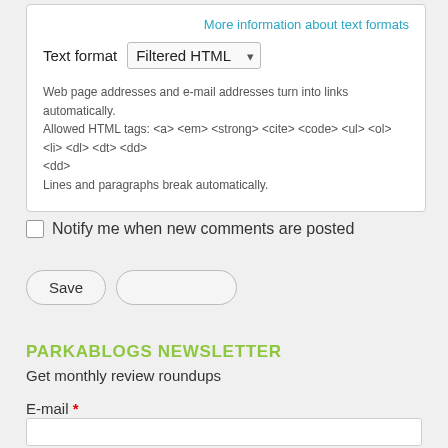More information about text formats
Text format   Filtered HTML
Web page addresses and e-mail addresses turn into links automatically.
Allowed HTML tags: <a> <em> <strong> <cite> <code> <ul> <ol> <li> <dl> <dt> <dd>
Lines and paragraphs break automatically.
Notify me when new comments are posted
Save
PARKABLOGS NEWSLETTER
Get monthly review roundups
E-mail *